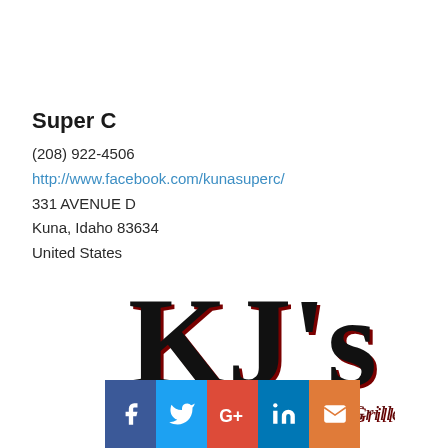Super C
(208) 922-4506
http://www.facebook.com/kunasuperc/
331 AVENUE D
Kuna, Idaho 83634
United States
[Figure (logo): KJ's American Grille logo — large stylized black and dark red serif text reading KJ's with 'American Grille' in smaller dark red serif text below]
[Figure (infographic): Social media icon bar with Facebook (blue), Twitter (light blue), Google+ (red), LinkedIn (blue), Email (orange) icons]